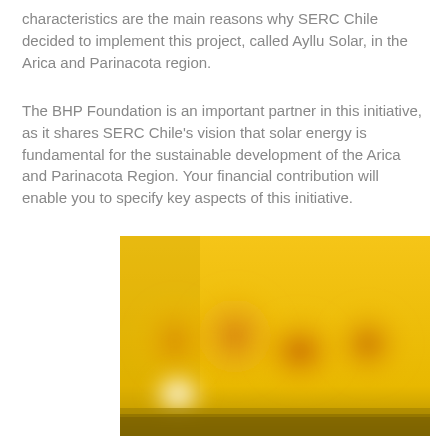characteristics are the main reasons why SERC Chile decided to implement this project, called Ayllu Solar, in the Arica and Parinacota region.
The BHP Foundation is an important partner in this initiative, as it shares SERC Chile's vision that solar energy is fundamental for the sustainable development of the Arica and Parinacota Region. Your financial contribution will enable you to specify key aspects of this initiative.
[Figure (photo): A photo showing a warm golden-yellow scene, possibly a solar-related or landscape image from the Arica and Parinacota region, with orange and brown blurred patches and a bright white spot in the lower-left area, and a dark golden band at the bottom.]